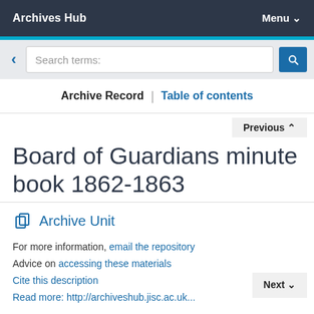Archives Hub   Menu
Search terms:
Archive Record | Table of contents
Previous
Board of Guardians minute book 1862-1863
Archive Unit
For more information, email the repository
Advice on accessing these materials
Cite this description
Read more: http://archiveshub.jisc.ac.uk/...
Next